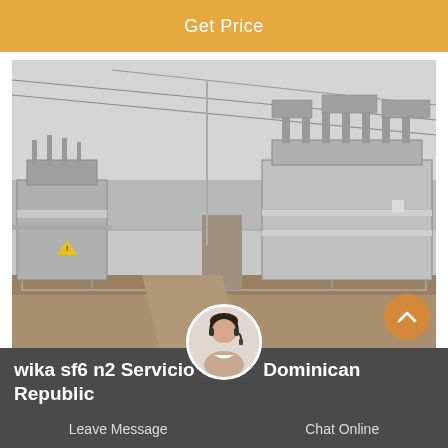Get Price
[Figure (photo): Outdoor electrical substation with large power transformers, switchgear equipment, fencing, overhead power lines, and overcast sky. Industrial/utility infrastructure photograph.]
wika sf6 n2 Servicio Dominican Republic
Leave Message
Chat Online